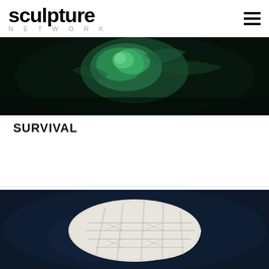sculpture NETWORK
[Figure (photo): Dark background image of a sculpture with green/teal glowing organic form]
SURVIVAL
[Figure (photo): White ceramic or plaster sculpture with geometric grid pattern on a dark blue background]